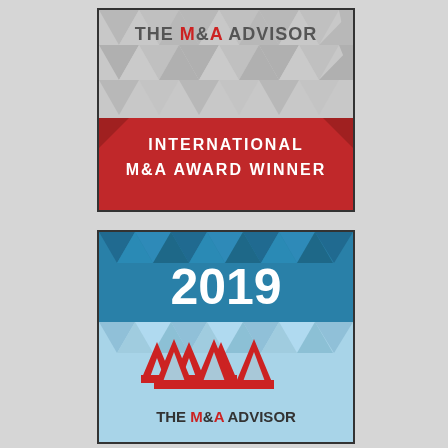[Figure (logo): The M&A Advisor badge - top half showing 'THE M&A ADVISOR' text with geometric triangle pattern in grey, and a red banner reading 'INTERNATIONAL M&A AWARD WINNER']
[Figure (logo): The M&A Advisor 2019 badge - showing '2019' in white text on teal/blue background with geometric triangle pattern, and lower half with light blue background showing the M&A Advisor red triple-arch logo and 'THE M&A ADVISOR' text]